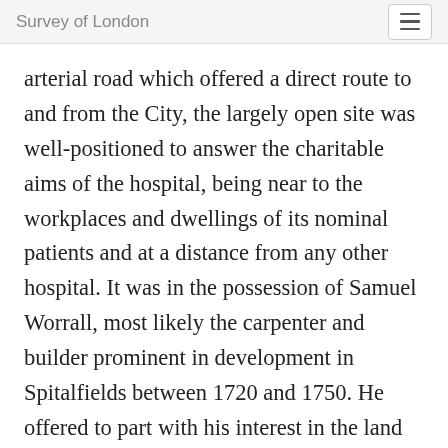Survey of London
arterial road which offered a direct route to and from the City, the largely open site was well-positioned to answer the charitable aims of the hospital, being near to the workplaces and dwellings of its nominal patients and at a distance from any other hospital. It was in the possession of Samuel Worrall, most likely the carpenter and builder prominent in development in Spitalfields between 1720 and 1750. He offered to part with his interest in the land in Whitechapel, which he held on a sixty-one-year lease from the City, for £750. Mainwaring intended offering about £600 and thought a longer term could be obtained easily as the City held the land from the Wentworth estate for a term of 500